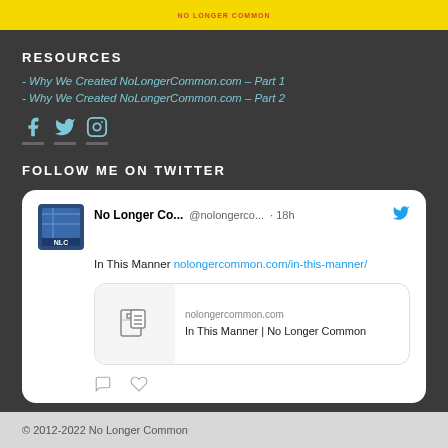[Figure (logo): Yellow banner with red text NO LONGER COMMON]
RESOURCES
- Why We Created NoLongerCommon.com – Part 1
- Why We Created NoLongerCommon.com – Part 2
[Figure (other): Social media icons: Facebook, Twitter, Instagram]
FOLLOW ME ON TWITTER
[Figure (screenshot): Tweet from No Longer Co... @nolongerco... 18h: In This Manner nolongercommon.com/in-this-manner/ with preview card showing nolongercommon.com and In This Manner | No Longer Common]
© 2012-2022 No Longer Common